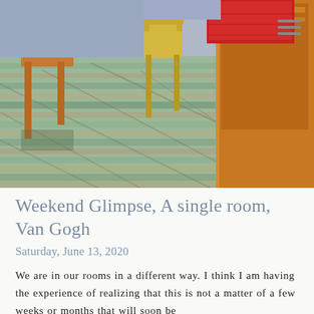[Figure (illustration): Van Gogh's 'Bedroom in Arles' painting showing a room interior with a bed (orange/brown frame with red bedding visible), a wooden chair, a small table, and a green wooden floor with brushstroke texture. A blue-grey wall is visible in the background.]
Weekend Glimpse, A single room, Van Gogh
Saturday, June 13, 2020
We are in our rooms in a different way. I think I am having the experience of realizing that this is not a matter of a few weeks or months that will soon be